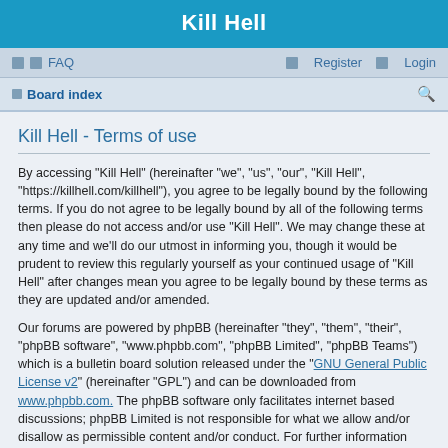Kill Hell
FAQ   Register   Login
Board index
Kill Hell - Terms of use
By accessing “Kill Hell” (hereinafter “we”, “us”, “our”, “Kill Hell”, “https://killhell.com/killhell”), you agree to be legally bound by the following terms. If you do not agree to be legally bound by all of the following terms then please do not access and/or use “Kill Hell”. We may change these at any time and we’ll do our utmost in informing you, though it would be prudent to review this regularly yourself as your continued usage of “Kill Hell” after changes mean you agree to be legally bound by these terms as they are updated and/or amended.
Our forums are powered by phpBB (hereinafter “they”, “them”, “their”, “phpBB software”, “www.phpbb.com”, “phpBB Limited”, “phpBB Teams”) which is a bulletin board solution released under the “GNU General Public License v2” (hereinafter “GPL”) and can be downloaded from www.phpbb.com. The phpBB software only facilitates internet based discussions; phpBB Limited is not responsible for what we allow and/or disallow as permissible content and/or conduct. For further information about phpBB, please see: https://www.phpbb.com/.